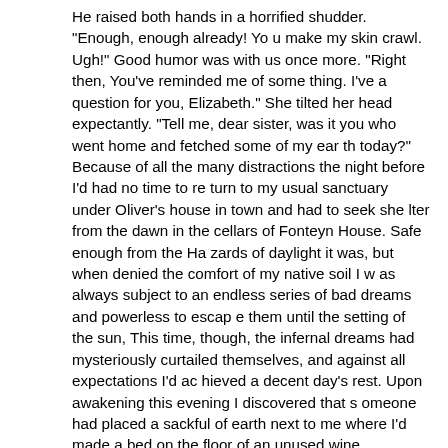He raised both hands in a horrified shudder. "Enough, enough already! Yo u make my skin crawl. Ugh!" Good humor was with us once more. "Right then, You've reminded me of some thing. I've a question for you, Elizabeth." She tilted her head expectantly. "Tell me, dear sister, was it you who went home and fetched some of my ear th today?'' Because of all the many distractions the night before I'd had no time to re turn to my usual sanctuary under Oliver's house in town and had to seek she lter from the dawn in the cellars of Fonteyn House. Safe enough from the Ha zards of daylight it was, but when denied the comfort of my native soil I w as always subject to an endless series of bad dreams and powerless to escap e them until the setting of the sun, This time, though, the infernal dreams had mysteriously curtailed themselves, and against all expectations I'd ac hieved a decent day's rest. Upon awakening this evening I discovered that s omeone had placed a sackful of earth next to me where I'd made a bed on the floor of an unused wine cupboard. "I could not go myself-with so much work to do it was just impossible to get away," she said, "but I did dispatch a note along to Jericho to send over a q uantity. What a blessing it was that you taught him to read and write. To hav e given such strange instructions to the footman verbally-well-there's enough